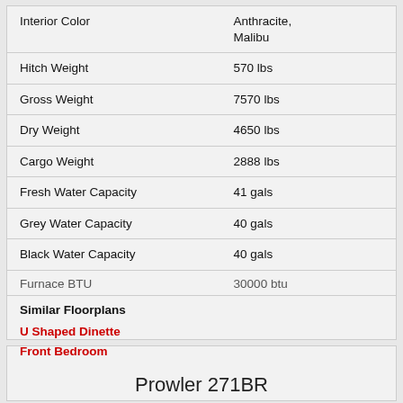| Specification | Value |
| --- | --- |
| Interior Color | Anthracite, Malibu |
| Hitch Weight | 570 lbs |
| Gross Weight | 7570 lbs |
| Dry Weight | 4650 lbs |
| Cargo Weight | 2888 lbs |
| Fresh Water Capacity | 41 gals |
| Grey Water Capacity | 40 gals |
| Black Water Capacity | 40 gals |
| Furnace BTU | 30000 btu |
Similar Floorplans
U Shaped Dinette
Front Bedroom
Prowler 271BR